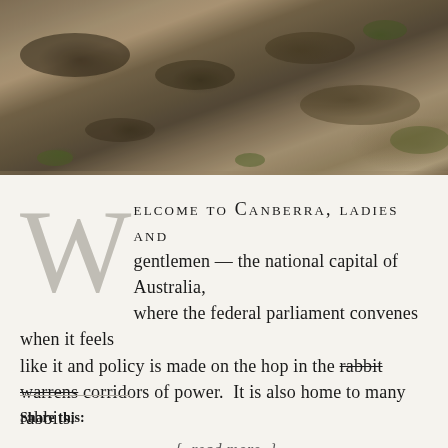[Figure (photo): Outdoor ground-level photo showing dry, bare earth with some sparse dry grass and small dark patches, natural daylight, earthy brown tones]
Welcome to Canberra, ladies and gentlemen — the national capital of Australia, where the federal parliament convenes when it feels like it and policy is made on the hop in the rabbit warrens corridors of power. It is also home to many rabbits.
{ read more }
Share this: